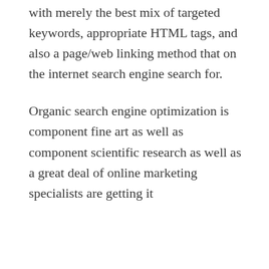with merely the best mix of targeted keywords, appropriate HTML tags, and also a page/web linking method that on the internet search engine search for.
Organic search engine optimization is component fine art as well as component scientific research as well as a great deal of online marketing specialists are getting it